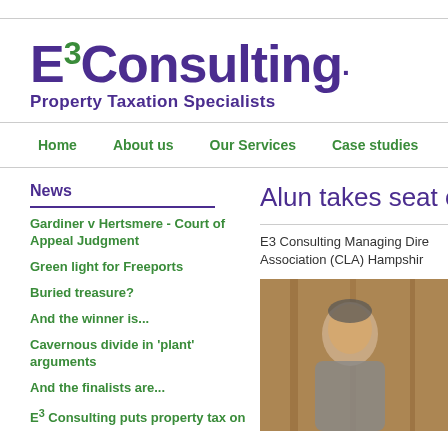[Figure (logo): E3 Consulting logo with 'Property Taxation Specialists' tagline]
Home | About us | Our Services | Case studies | Working with Pr
News
Gardiner v Hertsmere - Court of Appeal Judgment
Green light for Freeports
Buried treasure?
And the winner is...
Cavernous divide in 'plant' arguments
And the finalists are...
E3 Consulting puts property tax on
Alun takes seat on
E3 Consulting Managing Dire Association (CLA) Hampshir
[Figure (photo): Photo of a person (Managing Director of E3 Consulting)]